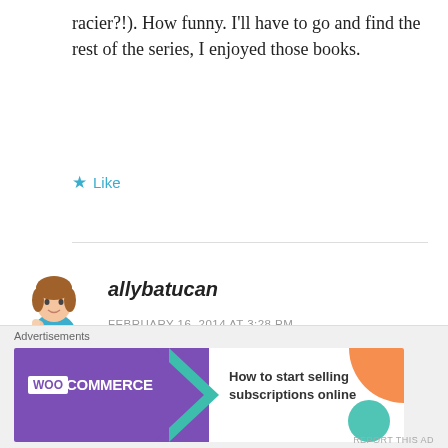racier?!). How funny. I'll have to go and find the rest of the series, I enjoyed those books.
★ Like
[Figure (illustration): Avatar of user allybatucan: cartoon illustration of a woman with a baby]
allybatucan
FEBRUARY 16, 2014 AT 3:28 PM
nice one!
★ Like
Advertisements
[Figure (illustration): WooCommerce advertisement banner: 'How to start selling subscriptions online']